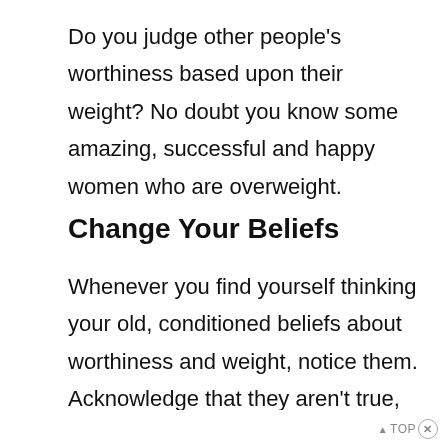Do you judge other people's worthiness based upon their weight? No doubt you know some amazing, successful and happy women who are overweight.
Change Your Beliefs
Whenever you find yourself thinking your old, conditioned beliefs about worthiness and weight, notice them. Acknowledge that they aren't true, and push them out of your mind. Believe that you deserve to
have nice clothes and do fun things now.
▲ TOP ✕